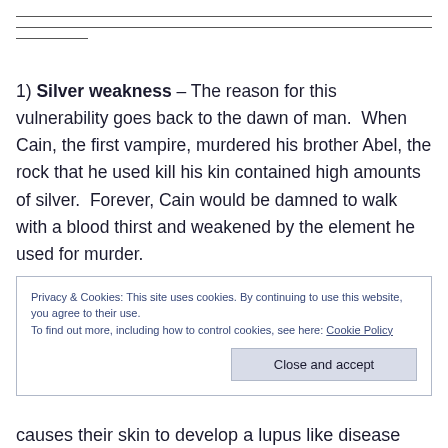1) Silver weakness – The reason for this vulnerability goes back to the dawn of man.  When Cain, the first vampire, murdered his brother Abel, the rock that he used kill his kin contained high amounts of silver.  Forever, Cain would be damned to walk with a blood thirst and weakened by the element he used for murder.
Privacy & Cookies: This site uses cookies. By continuing to use this website, you agree to their use.
To find out more, including how to control cookies, see here: Cookie Policy
causes their skin to develop a lupus like disease